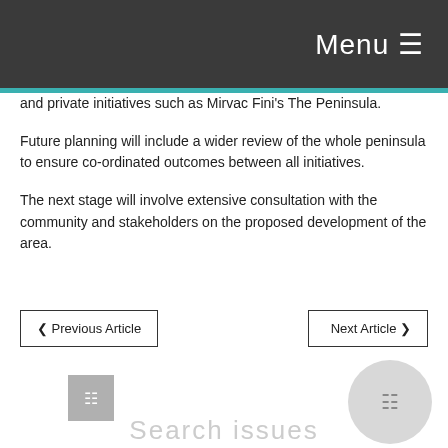Menu
and private initiatives such as Mirvac Fini's The Peninsula.
Future planning will include a wider review of the whole peninsula to ensure co-ordinated outcomes between all initiatives.
The next stage will involve extensive consultation with the community and stakeholders on the proposed development of the area.
❮ Previous Article
Next Article ❯
Search issues